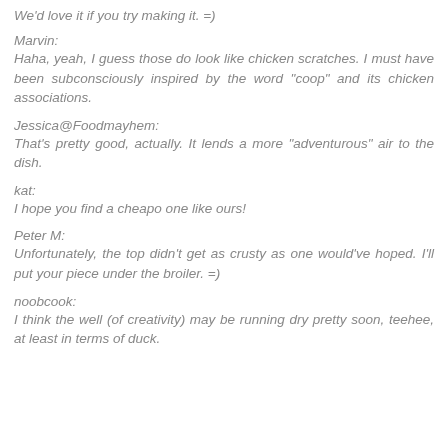We'd love it if you try making it. =)
Marvin:
Haha, yeah, I guess those do look like chicken scratches. I must have been subconsciously inspired by the word "coop" and its chicken associations.
Jessica@Foodmayhem:
That's pretty good, actually. It lends a more "adventurous" air to the dish.
kat:
I hope you find a cheapo one like ours!
Peter M:
Unfortunately, the top didn't get as crusty as one would've hoped. I'll put your piece under the broiler. =)
noobcook:
I think the well (of creativity) may be running dry pretty soon, teehee, at least in terms of duck.